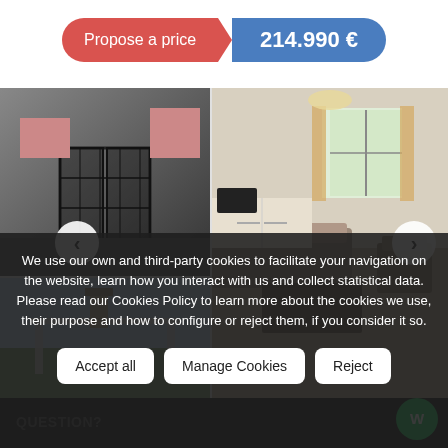Propose a price
214.990 €
[Figure (photo): Real estate property listing photo gallery showing exterior gate/building photo (top left), exterior courtyard/pergola photo (bottom left), and interior living room photo (right)]
We use our own and third-party cookies to facilitate your navigation on the website, learn how you interact with us and collect statistical data. Please read our Cookies Policy to learn more about the cookies we use, their purpose and how to configure or reject them, if you consider it so.
Accept all
Manage Cookies
Reject
QUESTION?